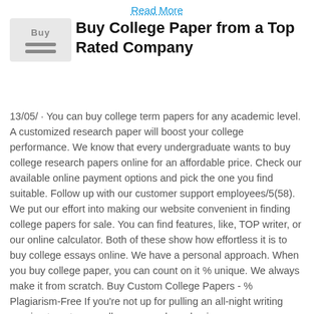Read More
Buy College Paper from a Top Rated Company
13/05/ · You can buy college term papers for any academic level. A customized research paper will boost your college performance. We know that every undergraduate wants to buy college research papers online for an affordable price. Check our available online payment options and pick the one you find suitable. Follow up with our customer support employees/5(58). We put our effort into making our website convenient in finding college papers for sale. You can find features, like, TOP writer, or our online calculator. Both of these show how effortless it is to buy college essays online. We have a personal approach. When you buy college paper, you can count on it % unique. We always make it from scratch. Buy Custom College Papers - % Plagiarism-Free If you're not up for pulling an all-night writing session to get your college paper done, buying one may save time, energy, and your grades. If you buy college paper from a custom paper writing service, you need to know what to look for so your assignment gets the right attention it needs/100.